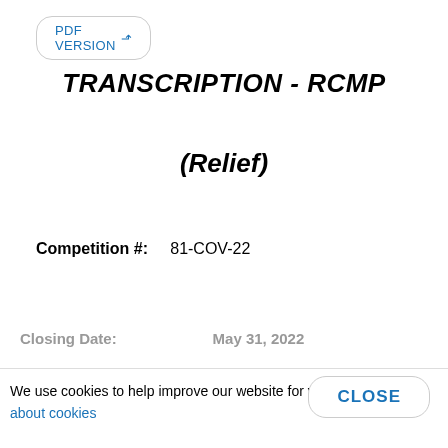[Figure (other): PDF VERSION button with rounded rectangle border]
TRANSCRIPTION - RCMP
(Relief)
Competition #:    81-COV-22
Closing Date: ... May 31, 2022 (partially visible)
We use cookies to help improve our website for you. Learn about cookies
[Figure (other): CLOSE button with rounded rectangle border]